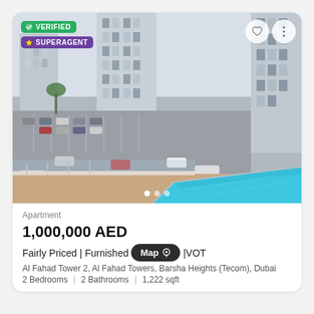[Figure (photo): Property listing photo showing an aerial/balcony view of a swimming pool and parking lot with tall residential buildings in the background. Badges: VERIFIED (green) and SUPERAGENT (purple) in top-left. Heart and more-options buttons in top-right. Three dot pagination indicators at bottom center.]
Apartment
1,000,000 AED
Fairly Priced | Furnished |VOT
Al Fahad Tower 2, Al Fahad Towers, Barsha Heights (Tecom), Dubai
2 Bedrooms  |  2 Bathrooms  |  1,222 sqft